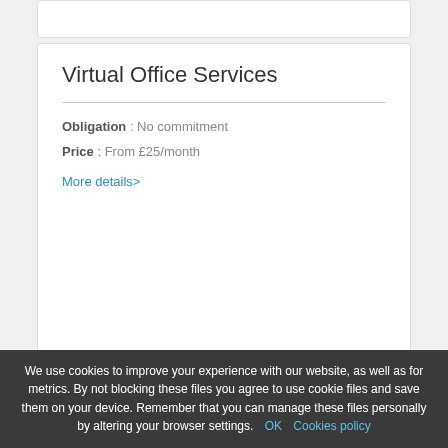Virtual Office Services
Obligation : No commitment
Price : From £25/month
More details>
Hot Desk
Obligation : No commitment
Price : From £58/hour
More details>
We use cookies to improve your experience with our website, as well as for metrics. By not blocking these files you agree to use cookie files and save them on your device. Remember that you can manage these files personally by altering your browser settings. OK  Cookies policy